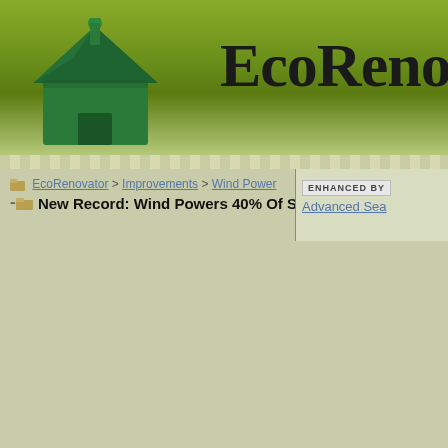[Figure (screenshot): EcoRenovator website header banner with green monopoly house figure on the left and 'EcoReno' logo text on right, on olive green gradient background]
EcoRenovator > Improvements > Wind Power
New Record: Wind Powers 40% Of Spain
ENHANCED BY | Advanced Sea...